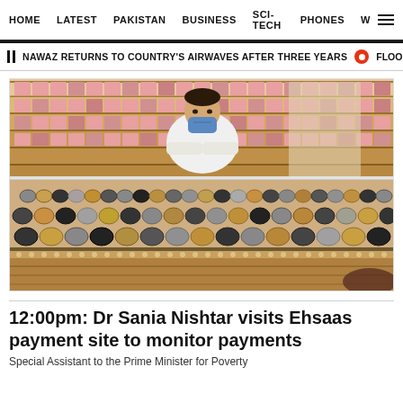HOME  LATEST  PAKISTAN  BUSINESS  SCI-TECH  PHONES  W
NAWAZ RETURNS TO COUNTRY'S AIRWAVES AFTER THREE YEARS  •  FLOODS, RAI
[Figure (photo): A shopkeeper wearing a blue face mask stands behind a glass display counter filled with numerous wristwatches of various styles. Behind him are wooden shelves stocked with more watches in pink and brown boxes. The counter front is ornately decorated.]
12:00pm: Dr Sania Nishtar visits Ehsaas payment site to monitor payments
Special Assistant to the Prime Minister for Poverty